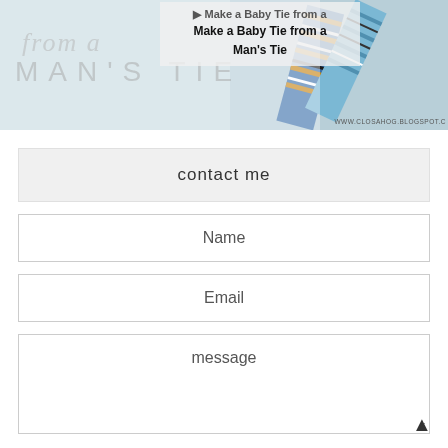[Figure (photo): Blog post thumbnail image showing a baby tie made from a man's tie, with striped neckties visible on the right, large watermark text 'from a MAN'S TIE' on left, overlay box with title 'Make a Baby Tie from a Man's Tie', and URL www.closahog.blogspot.c at the bottom right.]
contact me
Name
Email
message